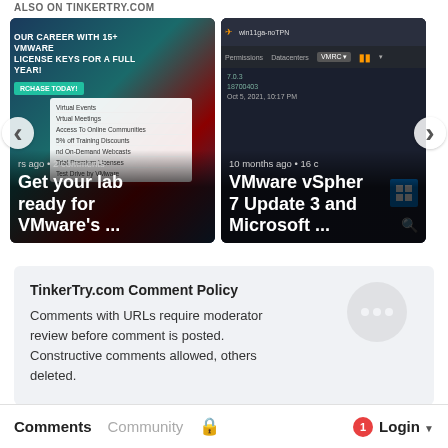ALSO ON TINKERTRY.COM
[Figure (screenshot): Carousel of two article cards. Left card: 'Get your lab ready for VMware's ...' with background showing VMware 15+ license keys promotion. Right card: 'VMware vSpher 7 Update 3 and Microsoft ...' with screenshot of VMware vSphere interface dated Oct 5, 2021. Navigation arrows on left and right sides.]
TinkerTry.com Comment Policy
Comments with URLs require moderator review before comment is posted. Constructive comments allowed, others deleted.
Comments   Community   🔒   1   Login ▾